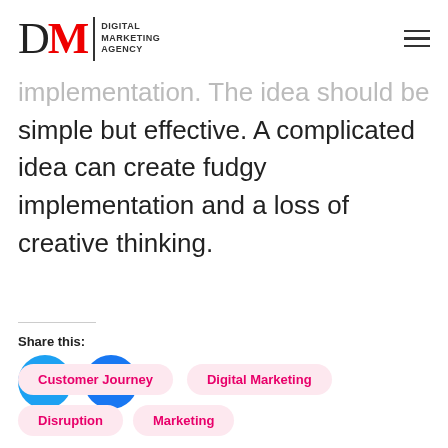DM | DIGITAL MARKETING AGENCY
simple but effective. A complicated idea can create fudgy implementation and a loss of creative thinking.
Share this:
[Figure (illustration): Twitter and Facebook social share icon buttons (blue circles with white bird and f icons)]
Customer Journey
Digital Marketing
Disruption
Marketing